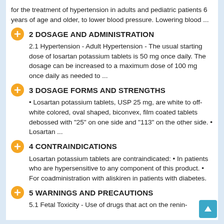for the treatment of hypertension in adults and pediatric patients 6 years of age and older, to lower blood pressure. Lowering blood ...
2 DOSAGE AND ADMINISTRATION
2.1 Hypertension - Adult Hypertension - The usual starting dose of losartan potassium tablets is 50 mg once daily. The dosage can be increased to a maximum dose of 100 mg once daily as needed to ...
3 DOSAGE FORMS AND STRENGTHS
• Losartan potassium tablets, USP 25 mg, are white to off-white colored, oval shaped, biconvex, film coated tablets debossed with "25" on one side and "113" on the other side. • Losartan ...
4 CONTRAINDICATIONS
Losartan potassium tablets are contraindicated: • In patients who are hypersensitive to any component of this product. • For coadministration with aliskiren in patients with diabetes.
5 WARNINGS AND PRECAUTIONS
5.1 Fetal Toxicity - Use of drugs that act on the renin-